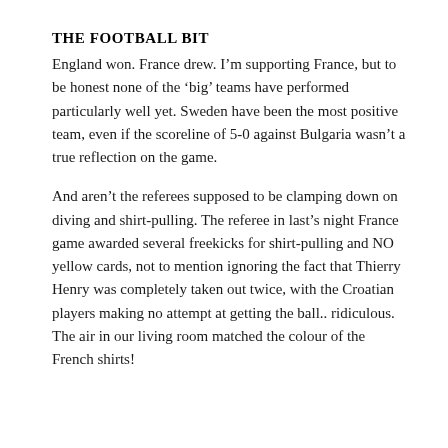THE FOOTBALL BIT
England won. France drew. I'm supporting France, but to be honest none of the ‘big’ teams have performed particularly well yet. Sweden have been the most positive team, even if the scoreline of 5-0 against Bulgaria wasn’t a true reflection on the game.
And aren’t the referees supposed to be clamping down on diving and shirt-pulling. The referee in last’s night France game awarded several freekicks for shirt-pulling and NO yellow cards, not to mention ignoring the fact that Thierry Henry was completely taken out twice, with the Croatian players making no attempt at getting the ball.. ridiculous. The air in our living room matched the colour of the French shirts!